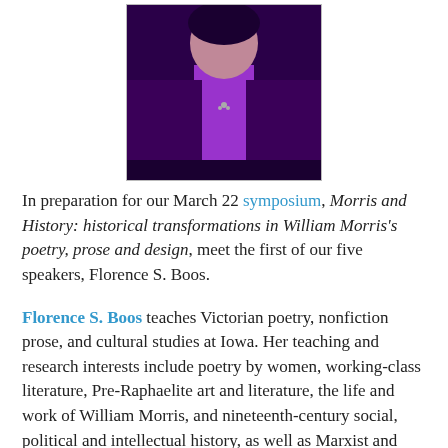[Figure (photo): Portrait photo of Florence S. Boos, person wearing dark purple/maroon jacket over bright purple shirt]
In preparation for our March 22 symposium, Morris and History: historical transformations in William Morris's poetry, prose and design, meet the first of our five speakers, Florence S. Boos.
Florence S. Boos teaches Victorian poetry, nonfiction prose, and cultural studies at Iowa. Her teaching and research interests include poetry by women, working-class literature, Pre-Raphaelite art and literature, the life and work of William Morris, and nineteenth-century social, political and intellectual history, as well as Marxist and feminist approaches to nineteenth- and early twentieth-century literature.
The general editor of the Morris Online Edition, she has published critical works on the poetry of Dante Gabriel Rossetti and William Morris; annotated critical editions of Morris's The Earthly Paradise, The Socialist Diary, and The